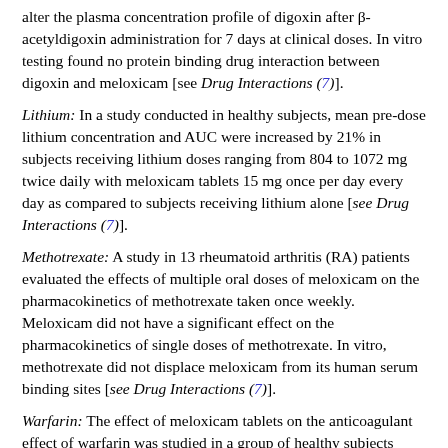alter the plasma concentration profile of digoxin after β-acetyldigoxin administration for 7 days at clinical doses. In vitro testing found no protein binding drug interaction between digoxin and meloxicam [see Drug Interactions (7)].
Lithium: In a study conducted in healthy subjects, mean pre-dose lithium concentration and AUC were increased by 21% in subjects receiving lithium doses ranging from 804 to 1072 mg twice daily with meloxicam tablets 15 mg once per day every day as compared to subjects receiving lithium alone [see Drug Interactions (7)].
Methotrexate: A study in 13 rheumatoid arthritis (RA) patients evaluated the effects of multiple oral doses of meloxicam on the pharmacokinetics of methotrexate taken once weekly. Meloxicam did not have a significant effect on the pharmacokinetics of single doses of methotrexate. In vitro, methotrexate did not displace meloxicam from its human serum binding sites [see Drug Interactions (7)].
Warfarin: The effect of meloxicam tablets on the anticoagulant effect of warfarin was studied in a group of healthy subjects receiving daily doses of warfarin that produced an INR (International Normalized Ratio) between 1.2 and 1.8. In these subjects, meloxicam did not alter warfarin pharmacokinetics and the average anticoagulant effect of warfarin as determined by